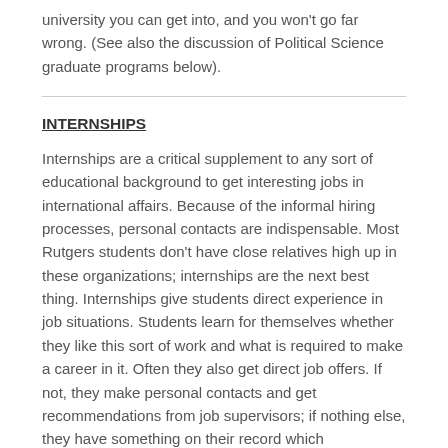university you can get into, and you won't go far wrong. (See also the discussion of Political Science graduate programs below).
INTERNSHIPS
Internships are a critical supplement to any sort of educational background to get interesting jobs in international affairs. Because of the informal hiring processes, personal contacts are indispensable. Most Rutgers students don't have close relatives high up in these organizations; internships are the next best thing. Internships give students direct experience in job situations. Students learn for themselves whether they like this sort of work and what is required to make a career in it. Often they also get direct job offers. If not, they make personal contacts and get recommendations from job supervisors; if nothing else, they have something on their record which distinguishes them from the thousands of other people who will graduate with B.A. degrees from